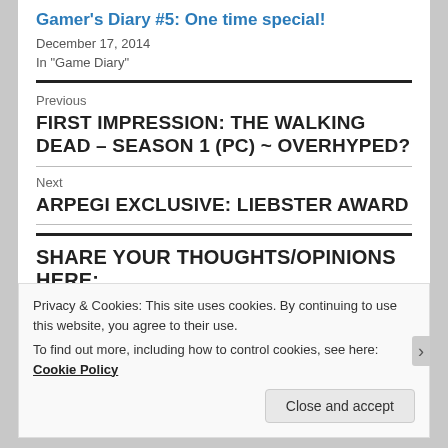Gamer's Diary #5: One time special!
December 17, 2014
In "Game Diary"
Previous
FIRST IMPRESSION: THE WALKING DEAD – SEASON 1 (PC) ~ OVERHYPED?
Next
ARPEGI EXCLUSIVE: LIEBSTER AWARD
SHARE YOUR THOUGHTS/OPINIONS HERE:
Privacy & Cookies: This site uses cookies. By continuing to use this website, you agree to their use.
To find out more, including how to control cookies, see here: Cookie Policy